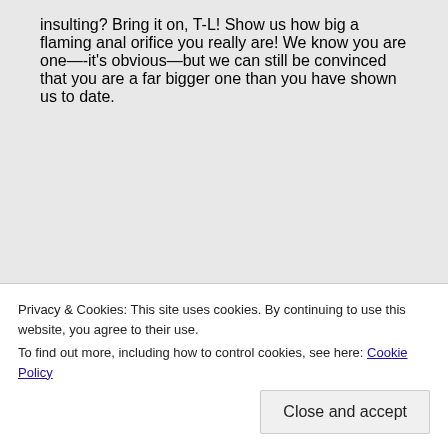insulting? Bring it on, T-L! Show us how big a flaming anal orifice you really are! We know you are one—-it's obvious—but we can still be convinced that you are a far bigger one than you have shown us to date.
Privacy & Cookies: This site uses cookies. By continuing to use this website, you agree to their use. To find out more, including how to control cookies, see here: Cookie Policy
Close and accept
hopes it sticks. He is